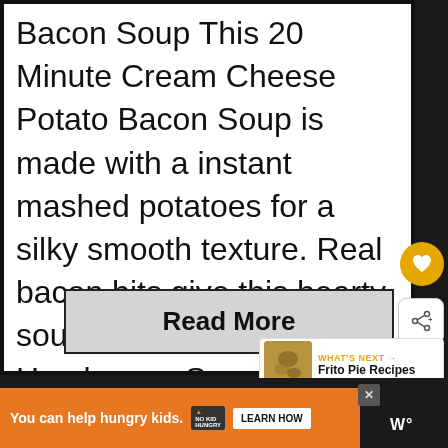Bacon Soup This 20 Minute Cream Cheese Potato Bacon Soup is made with a instant mashed potatoes for a silky smooth texture. Real bacon bits give this hearty soup tons of flavour. Easy Hamburger Soup This tasty …
Read More
WHAT'S NEXT → Frito Pie Recipes
You can help hungry kids. NO KID HUNGRY LEARN HOW